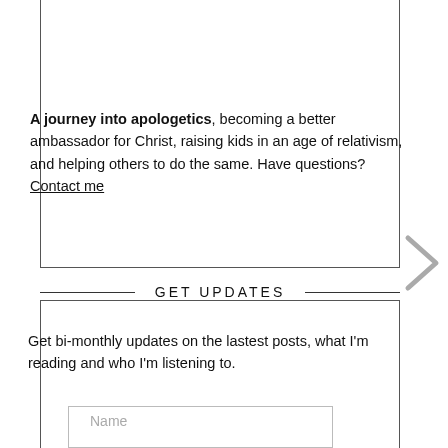A journey into apologetics, becoming a better ambassador for Christ, raising kids in an age of relativism, and helping others to do the same. Have questions? Contact me
GET UPDATES
Get bi-monthly updates on the lastest posts, what I'm reading and who I'm listening to.